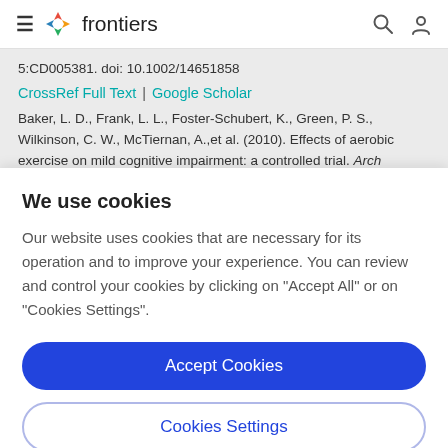frontiers
5:CD005381. doi: 10.1002/14651858
CrossRef Full Text | Google Scholar
Baker, L. D., Frank, L. L., Foster-Schubert, K., Green, P. S., Wilkinson, C. W., McTiernan, A.,et al. (2010). Effects of aerobic exercise on mild cognitive impairment: a controlled trial. Arch
We use cookies
Our website uses cookies that are necessary for its operation and to improve your experience. You can review and control your cookies by clicking on "Accept All" or on "Cookies Settings".
Accept Cookies
Cookies Settings